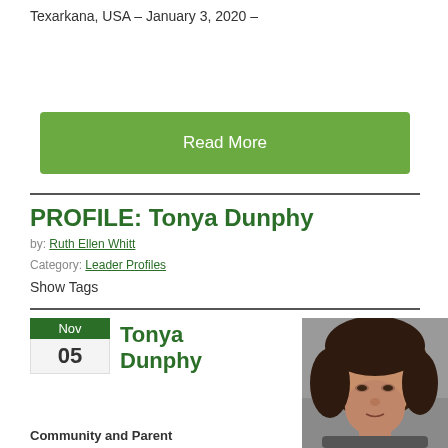Texarkana, USA – January 3, 2020 –
Read More
PROFILE: Tonya Dunphy
by: Ruth Ellen Whitt
Category: Leader Profiles
Show Tags
Nov
05
Tonya Dunphy
[Figure (photo): Portrait photo of Tonya Dunphy, a woman with brown hair, against a grey background]
Community and Parent